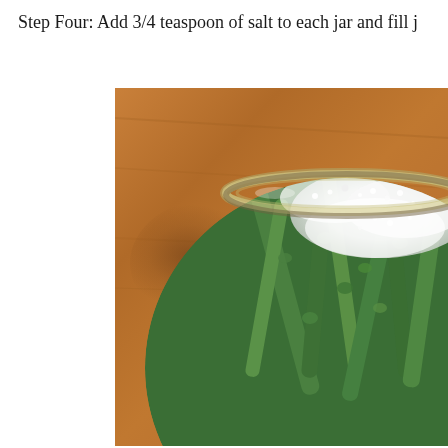Step Four: Add 3/4 teaspoon of salt to each jar and fill j
[Figure (photo): Top-down view of a glass mason jar filled with green beans and salt (white granules visible on top), sitting on a wooden table surface.]